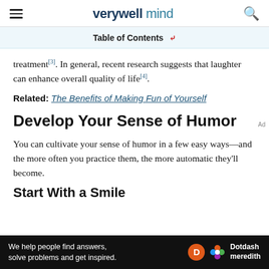verywell mind
Table of Contents
treatment[3]. In general, recent research suggests that laughter can enhance overall quality of life[4].
Related: The Benefits of Making Fun of Yourself
Develop Your Sense of Humor
You can cultivate your sense of humor in a few easy ways—and the more often you practice them, the more automatic they'll become.
Start With a Smile
We help people find answers, solve problems and get inspired. Dotdash meredith